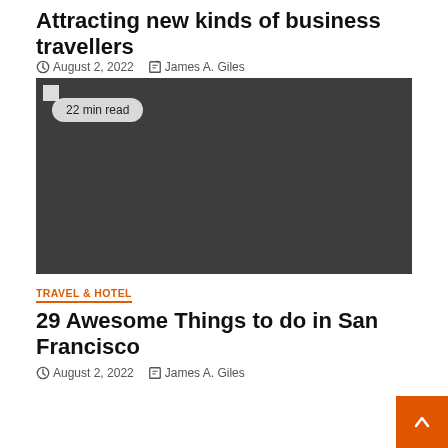Attracting new kinds of business travellers
August 2, 2022   James A. Giles
[Figure (photo): Dark placeholder image with a broken image icon in the top-left corner and a '22 min read' badge overlay]
TRAVEL & HOTEL
29 Awesome Things to do in San Francisco
August 2, 2022   James A. Giles